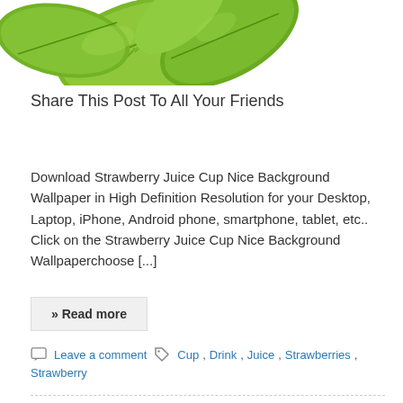[Figure (photo): Photo of green strawberry leaves/plant on white background, cropped at top of page]
Share This Post To All Your Friends
Download Strawberry Juice Cup Nice Background Wallpaper in High Definition Resolution for your Desktop, Laptop, iPhone, Android phone, smartphone, tablet, etc.. Click on the Strawberry Juice Cup Nice Background Wallpaperchoose […]
» Read more
Leave a comment   Cup, Drink, Juice, Strawberries, Strawberry